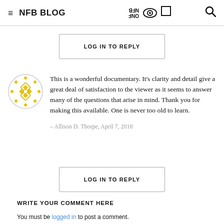≡ NFB BLOG
LOG IN TO REPLY
This is a wonderful documentary. It's clarity and detail give a great deal of satisfaction to the viewer as it seems to answer many of the questions that arise in mind. Thank you for making this available. One is never too old to learn.
– Allison D. Thorpe, April 7, 2018
LOG IN TO REPLY
WRITE YOUR COMMENT HERE
You must be logged in to post a comment.